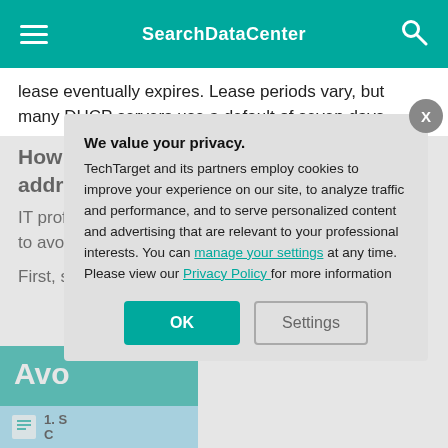SearchDataCenter
lease eventually expires. Lease periods vary, but many DHCP servers use a default of seven days.
How to avoid running out of IP addresses
IT professionals can implement several best practices to avoid running
First, shorten the transient devices days, or even we
[Figure (infographic): Teal background infographic block with bold white text 'Avo' (truncated) and a light blue sub-block at bottom]
We value your privacy.
TechTarget and its partners employ cookies to improve your experience on our site, to analyze traffic and performance, and to serve personalized content and advertising that are relevant to your professional interests. You can manage your settings at any time. Please view our Privacy Policy for more information